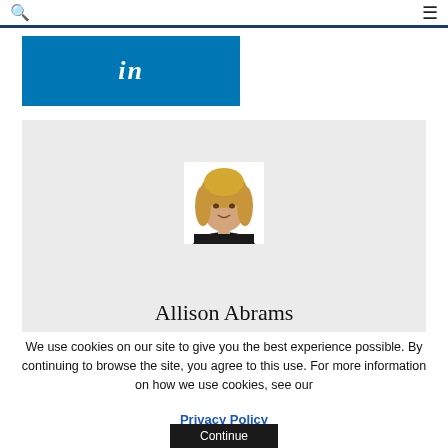🔍 ≡
[Figure (logo): LinkedIn blue button with 'in' text]
[Figure (photo): Profile photo of Allison Abrams, a woman with blonde hair wearing a black top]
Allison Abrams
We use cookies on our site to give you the best experience possible. By continuing to browse the site, you agree to this use. For more information on how we use cookies, see our
Privacy Policy
Continue